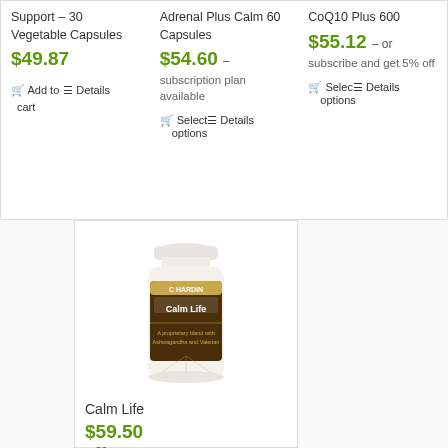Support – 30 Vegetable Capsules
$49.87
Add to cart  Details
Adrenal Plus Calm 60 Capsules
$54.60 – subscription plan available
Select options  Details
CoQ10 Plus 600
$55.12 – or subscribe and get 5% off
Select options  Details
[Figure (photo): White supplement bottle labeled Calm Life by Charing, with brown and gold label]
Calm Life
$59.50 – or subscribe and get 5% off